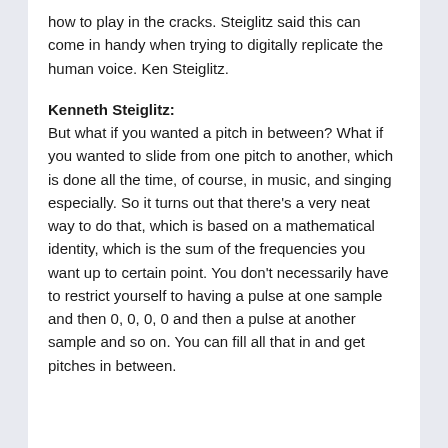how to play in the cracks. Steiglitz said this can come in handy when trying to digitally replicate the human voice. Ken Steiglitz.
Kenneth Steiglitz: But what if you wanted a pitch in between? What if you wanted to slide from one pitch to another, which is done all the time, of course, in music, and singing especially. So it turns out that there's a very neat way to do that, which is based on a mathematical identity, which is the sum of the frequencies you want up to certain point. You don't necessarily have to restrict yourself to having a pulse at one sample and then 0, 0, 0, 0 and then a pulse at another sample and so on. You can fill all that in and get pitches in between.